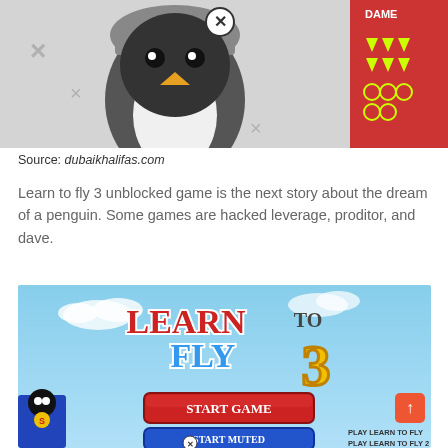[Figure (photo): Screenshot of a cartoon penguin game character with an X close button, showing the penguin character and some game UI elements on the right side]
Source: dubaikhalifas.com
Learn to fly 3 unblocked game is the next story about the dream of a penguin. Some games are hacked leverage, proditor, and dave.
[Figure (screenshot): Screenshot of Learn to Fly 3 game title screen showing 'LEARN TO FLY 3' title text, a red START GAME button, a blue START MUTED button, and a superhero penguin character on the left. Bottom right shows 'PLAY LEARN TO FLY' and 'PLAY LEARN TO FLY 2' links. An orange arrow-up button is visible on the right side.]